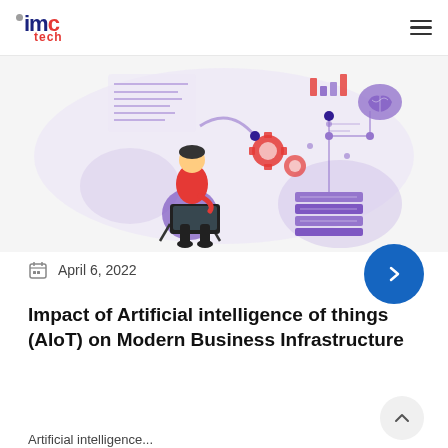imc tech
[Figure (illustration): Illustration of a person sitting at a laptop with AI/IoT themed graphics: circuit board connections, gears, brain icon, bar charts, and a server stack on a light purple background.]
April 6, 2022
Impact of Artificial intelligence of things (AIoT) on Modern Business Infrastructure
Artificial intelligence...